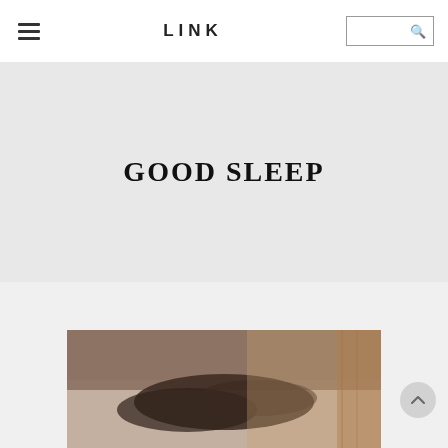LINK
GOOD SLEEP
[Figure (photo): Photo of a person sleeping, visible hair resting on pillow/surface, warm tones]